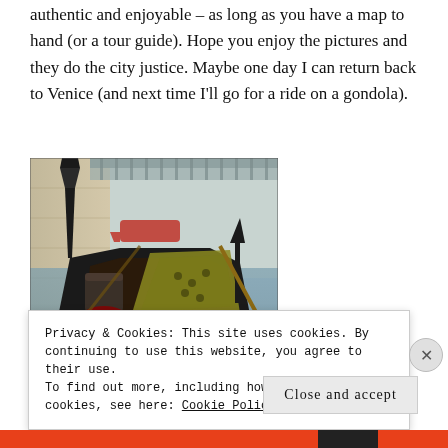authentic and enjoyable – as long as you have a map to hand (or a tour guide). Hope you enjoy the pictures and they do the city justice. Maybe one day I can return back to Venice (and next time I'll go for a ride on a gondola).
[Figure (photo): A close-up photo of a gondola in a Venetian canal, showing the interior seats, decorative cushions, and the distinctive ferro (metal ornament) at the prow. Stone bridge and buildings visible in the background.]
Privacy & Cookies: This site uses cookies. By continuing to use this website, you agree to their use.
To find out more, including how to control cookies, see here: Cookie Policy
Close and accept